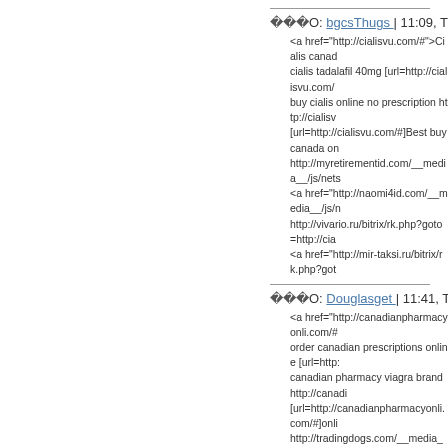���O: bgcsThugs | 11:09, Tuesday
<a href="http://cialisvu.com/#">Cialis canada cialis tadalafil 40mg [url=http://cialisvu.com/ buy cialis online no prescription http://cialisv [url=http://cialisvu.com/#]Best buy canada on http://myretirementid.com/__media__/js/nets <a href="http://naomi4id.com/__media__/js/n http://vivario.ru/bitrix/rk.php?goto=http://cia <a href="http://mir-taksi.ru/bitrix/rk.php?got
���O: Douglasget | 11:41, Tuesday
<a href="http://canadianpharmacyonli.com/# order canadian prescriptions online [url=http: canadian pharmacy viagra brand http://canadi [url=http://canadianpharmacyonli.com/#]onli http://tradingdogs.com/__media__/js/netsoltr <a href="http://zionsfire.com/__media__/js/n http://moreyarovoe.com/bitrix/redirect.php?e <a href="http://kupileeco.ru/bitrix/redirect.ph
���O: Douglasget | 18:12, Tuesday
<a href="http://cialisvv.com/#">Buy cialis on purchasing generic cialis on the internet [url=